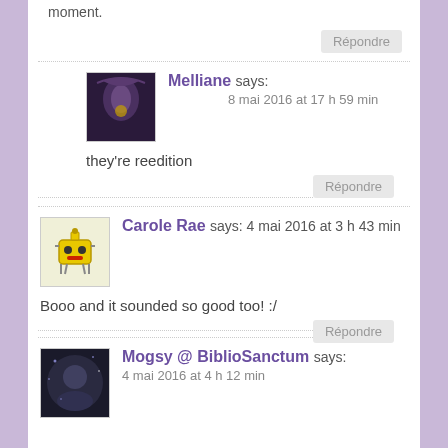moment.
Répondre
Melliane says:
8 mai 2016 at 17 h 59 min
they're reedition
Répondre
Carole Rae says: 4 mai 2016 at 3 h 43 min
Booo and it sounded so good too! :/
Répondre
Mogsy @ BiblioSanctum says:
4 mai 2016 at 4 h 12 min